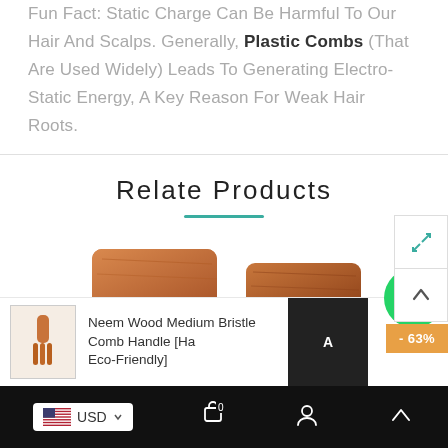Fun Fact: Static Charge Can Be Harmful To Our Hair And Scalps. Generally, Plastic Combs (That Are Used Widely) Leads To Generating Electro-Static Energy, A Key Reason For Weak Hair Roots.
Relate Products
[Figure (photo): Two wooden neem combs with wide teeth photographed from above on a white background]
Neem Wood Medium Bristle Comb Handle [Ha... Eco-Friendly]
USD | Cart 0 | Account | Back to top